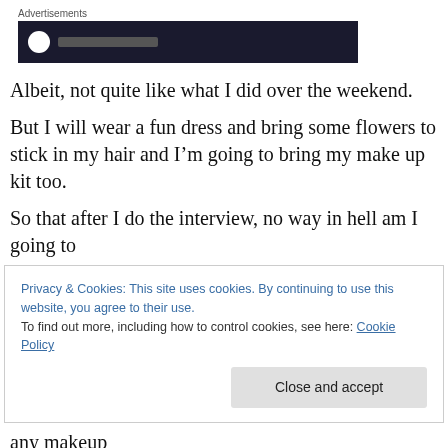Advertisements
[Figure (other): Dark advertisement banner block with a white circle icon and a dark line placeholder]
Albeit, not quite like what I did over the weekend.
But I will wear a fun dress and bring some flowers to stick in my hair and I’m going to bring my make up kit too.
So that after I do the interview, no way in hell am I going to
Privacy & Cookies: This site uses cookies. By continuing to use this website, you agree to their use.
To find out more, including how to control cookies, see here: Cookie Policy
any makeup